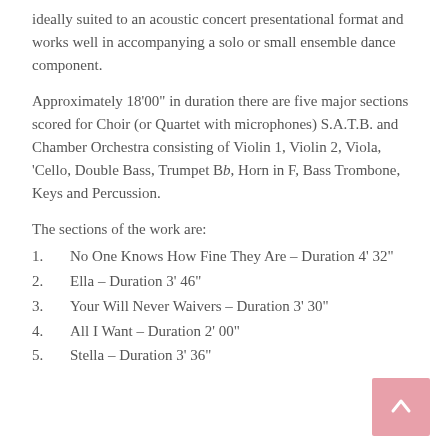ideally suited to an acoustic concert presentational format and works well in accompanying a solo or small ensemble dance component.
Approximately 18’00” in duration there are five major sections scored for Choir (or Quartet with microphones) S.A.T.B. and Chamber Orchestra consisting of Violin 1, Violin 2, Viola, ‘Cello, Double Bass, Trumpet Bb, Horn in F, Bass Trombone, Keys and Percussion.
The sections of the work are:
1.    No One Knows How Fine They Are – Duration 4’ 32”
2.    Ella – Duration 3’ 46”
3.    Your Will Never Waivers – Duration 3’ 30”
4.    All I Want – Duration 2’ 00”
5.    Stella – Duration 3’ 36”